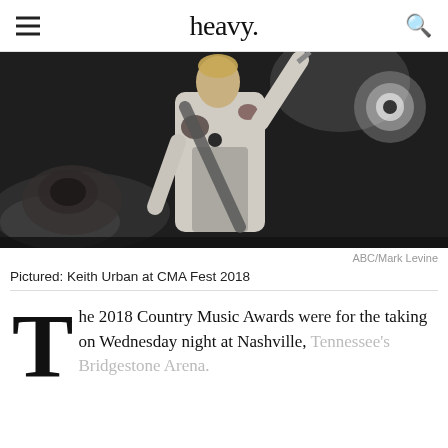heavy.
[Figure (photo): Keith Urban performing on stage, wearing a white embroidered jacket and guitar strap, raising one hand, dark concert background]
ABC/Mark Levine
Pictured: Keith Urban at CMA Fest 2018
The 2018 Country Music Awards were for the taking on Wednesday night at Nashville, Tennessee's Bridgestone Arena.